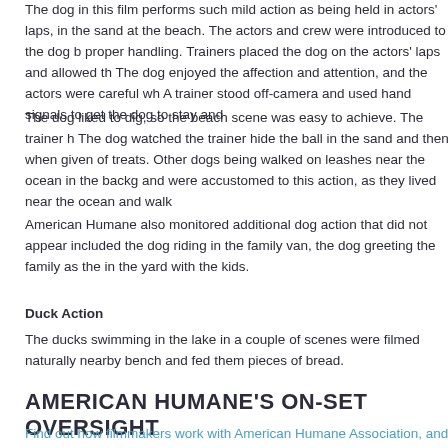The dog in this film performs such mild action as being held in actors' laps, in the sand at the beach. The actors and crew were introduced to the dog b proper handling. Trainers placed the dog on the actors' laps and allowed th The dog enjoyed the affection and attention, and the actors were careful wh A trainer stood off-camera and used hand signals to get the dog to stay and
The dog liked to dig, so the beach scene was easy to achieve. The trainer h The dog watched the trainer hide the ball in the sand and then when given of treats. Other dogs being walked on leashes near the ocean in the backg and were accustomed to this action, as they lived near the ocean and walk
American Humane also monitored additional dog action that did not appear included the dog riding in the family van, the dog greeting the family as the in the yard with the kids.
Duck Action
The ducks swimming in the lake in a couple of scenes were filmed naturally nearby bench and fed them pieces of bread.
AMERICAN HUMANE'S ON-SET OVERSIGHT
Find out how filmmakers work with American Humane Association, and get